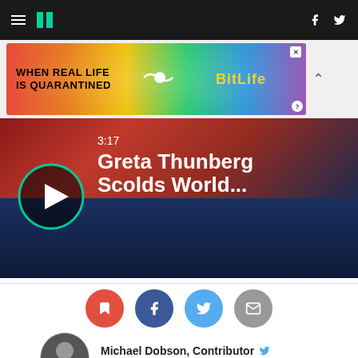HuffPost navigation bar with hamburger menu, logo, Facebook and Twitter icons
[Figure (screenshot): BitLife advertisement banner: colorful rainbow background with text 'WHEN REAL LIFE IS QUARANTINED' and BitLife logo with emoji character]
[Figure (screenshot): Video thumbnail: 3:17 duration, title 'Greta Thunberg Scolds World...' with play button circle, showing woman in red top]
[Figure (infographic): Social share buttons: bookmark (red), Facebook (dark blue), Twitter (light blue), email (gray)]
Michael Dobson, Contributor
Writer on climate, law, and climate law